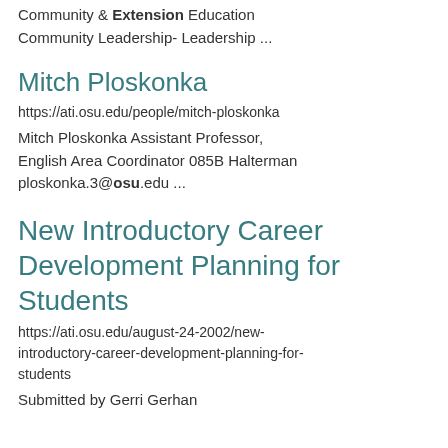Community & Extension Education Community Leadership- Leadership ...
Mitch Ploskonka
https://ati.osu.edu/people/mitch-ploskonka
Mitch Ploskonka Assistant Professor, English Area Coordinator 085B Halterman ploskonka.3@osu.edu ...
New Introductory Career Development Planning for Students
https://ati.osu.edu/august-24-2002/new-introductory-career-development-planning-for-students
Submitted by Gerri Gerhan